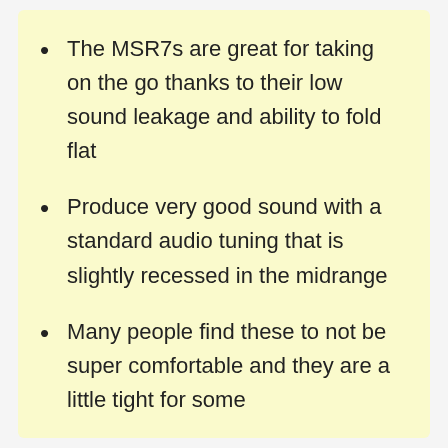The MSR7s are great for taking on the go thanks to their low sound leakage and ability to fold flat
Produce very good sound with a standard audio tuning that is slightly recessed in the midrange
Many people find these to not be super comfortable and they are a little tight for some